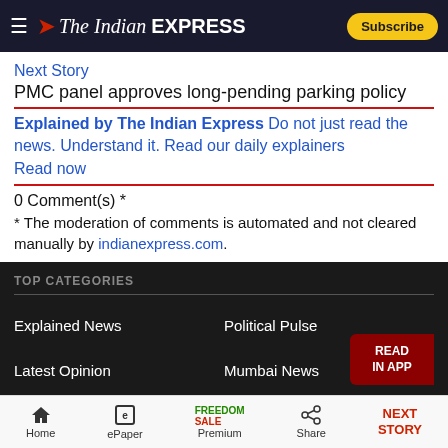The Indian Express — Subscribe
Next Story
PMC panel approves long-pending parking policy
Explained by The Indian Express Do not just read the news. Understand it. Read our daily explainers Read now
0 Comment(s) *
* The moderation of comments is automated and not cleared manually by indianexpress.com.
TOP CATEGORIES
Explained News
Political Pulse
Latest Opinion
Mumbai News
Delhi News
Pune News
Bangalore News
Bollywood News
Home | ePaper | Premium | Share | NEXT STORY